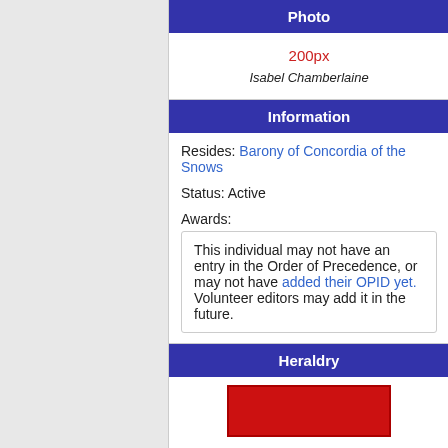Photo
[Figure (other): Photo placeholder showing '200px' in red text and italic caption 'Isabel Chamberlaine']
Information
Resides: Barony of Concordia of the Snows
Status: Active
Awards:
This individual may not have an entry in the Order of Precedence, or may not have added their OPID yet. Volunteer editors may add it in the future.
Heraldry
[Figure (other): Heraldry image, red rectangle partially visible at bottom of page]